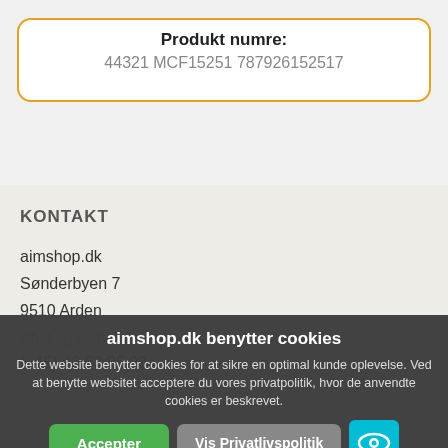Produkt numre:
44321 MCF15251 787926152517
KONTAKT
aimshop.dk
Sønderbyen 7
9510 Arden
Chat og kontakt info
(+45) 42 63 05 00
info@aimshop.dk
aimshop.dk benytter cookies
Dette website benytter cookies for at sikre en optimal kunde oplevelse. Ved at benytte websitet acceptere du vores privatpolitik, hvor de anvendte cookies er beskrevet.
Accepter
Vis Privatlivspolitik